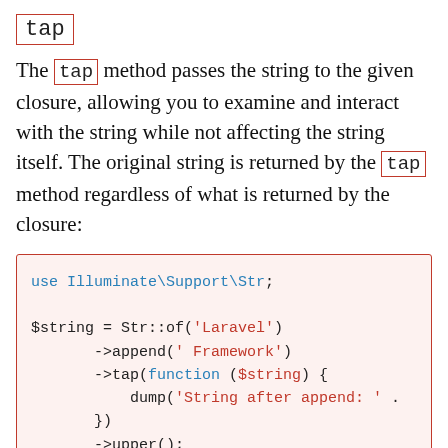tap
The tap method passes the string to the given closure, allowing you to examine and interact with the string while not affecting the string itself. The original string is returned by the tap method regardless of what is returned by the closure:
[Figure (screenshot): PHP code block showing use Illuminate\Support\Str; followed by $string = Str::of('Laravel') ->append(' Framework') ->tap(function ($string) { dump('String after append: ' . }) ->upper(); // LARAVEL FRAMEWORK]